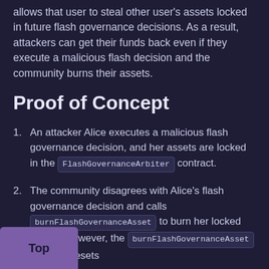allows that user to steal other user's assets locked in future flash governance decisions. As a result, attackers can get their funds back even if they execute a malicious flash decision and the community burns their assets.
Proof of Concept
An attacker Alice executes a malicious flash governance decision, and her assets are locked in the FlashGovernanceArbiter contract.
The community disagrees with Alice's flash governance decision and calls burnFlashGovernanceAsset to burn her locked assets. However, the burnFlashGovernanceAsset function resets